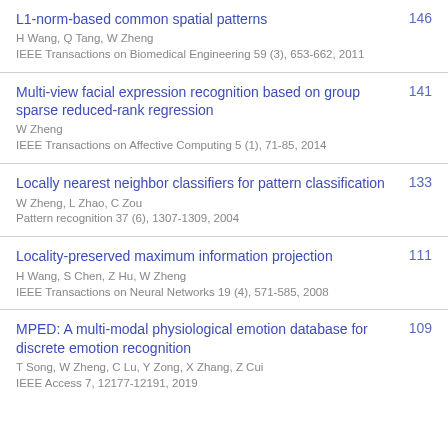L1-norm-based common spatial patterns | H Wang, Q Tang, W Zheng | IEEE Transactions on Biomedical Engineering 59 (3), 653-662, 2011 | 146
Multi-view facial expression recognition based on group sparse reduced-rank regression | W Zheng | IEEE Transactions on Affective Computing 5 (1), 71-85, 2014 | 141
Locally nearest neighbor classifiers for pattern classification | W Zheng, L Zhao, C Zou | Pattern recognition 37 (6), 1307-1309, 2004 | 133
Locality-preserved maximum information projection | H Wang, S Chen, Z Hu, W Zheng | IEEE Transactions on Neural Networks 19 (4), 571-585, 2008 | 111
MPED: A multi-modal physiological emotion database for discrete emotion recognition | T Song, W Zheng, C Lu, Y Zong, X Zhang, Z Cui | IEEE Access 7, 12177-12191, 2019 | 109